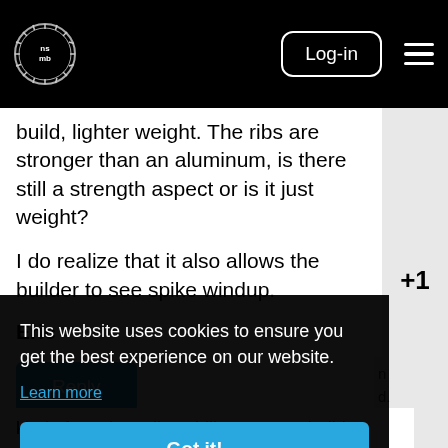nsmb logo | Log-in | menu
build, lighter weight. The ribs are stronger than an aluminum, is there still a strength aspect or is it just weight?
I do realize that it also allows the builder to see spike windup.
Eric
Reply
+1
This website uses cookies to ensure you get the best experience on our website.
Learn more
Got it!
kind of precise adjustability, you can build a